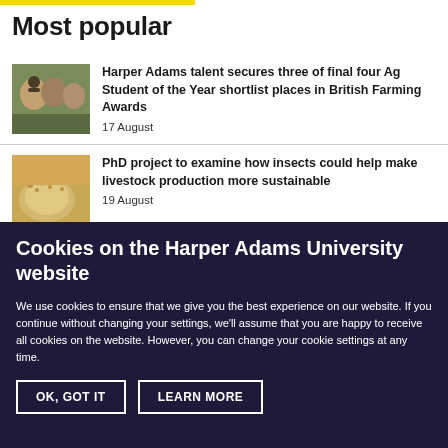Most popular
Harper Adams talent secures three of final four Ag Student of the Year shortlist places in British Farming Awards
17 August
PhD project to examine how insects could help make livestock production more sustainable
19 August
Cookies on the Harper Adams University website
We use cookies to ensure that we give you the best experience on our website. If you continue without changing your settings, we'll assume that you are happy to receive all cookies on the website. However, you can change your cookie settings at any time.
OK, GOT IT
LEARN MORE